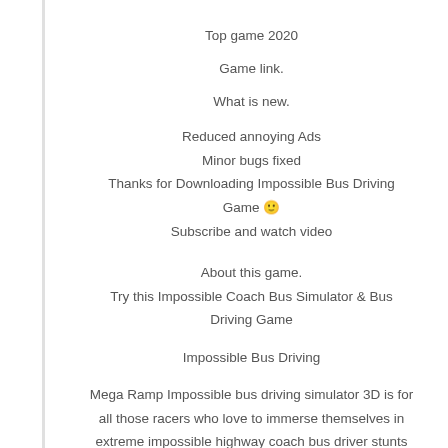Top game 2020
Game link.
What is new.
Reduced annoying Ads
Minor bugs fixed
Thanks for Downloading Impossible Bus Driving Game 🙂
Subscribe and watch video
About this game.
Try this Impossible Coach Bus Simulator & Bus Driving Game
Impossible Bus Driving
Mega Ramp Impossible bus driving simulator 3D is for all those racers who love to immerse themselves in extreme impossible highway coach bus driver stunts on insane tracks. Choose from a huge variety of luxury coach buses to reach the top speeds and